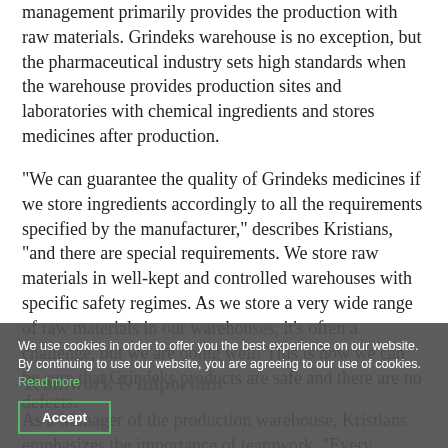management primarily provides the production with raw materials. Grindeks warehouse is no exception, but the pharmaceutical industry sets high standards when the warehouse provides production sites and laboratories with chemical ingredients and stores medicines after production.
“We can guarantee the quality of Grindeks medicines if we store ingredients accordingly to all the requirements specified by the manufacturer,” describes Kristians, “and there are special requirements. We store raw materials in well-kept and controlled warehouses with specific safety regimes. As we store a very wide range of raw materials in our warehouses, it’s often a challenge, but we are doing well! This is how we can be sure that Grindeks products are safe and there are no defects.
Teamwork is important
As a Manager of the production warehouse, Kristians emphasizes the importance of teamwork. “Every member
We use cookies in order to offer you the best experience on our website. By continuing to use our website, you are agreeing to our use of cookies. Read more
Accept